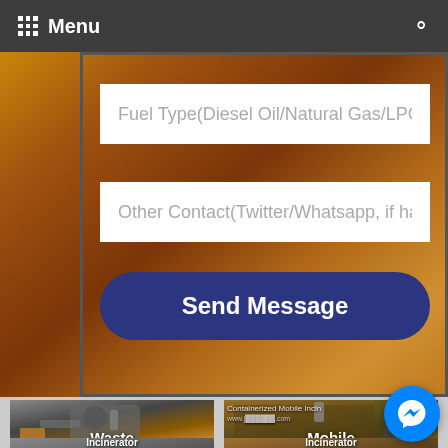Menu
[Figure (screenshot): Web form with background image showing autumn/orange colors. Two input fields: 'Fuel Type(Diesel Oil/Natural Gas/LPG,' and 'Other Contact(Twitter/Whatsapp, if ha' with a 'Send Message' button.]
Fuel Type(Diesel Oil/Natural Gas/LPG,
Other Contact(Twitter/Whatsapp, if ha
Send Message
[Figure (photo): Photo of a waste incinerator machine, industrial equipment with pipes and circular metal components. Label: Waste Incinerator]
Waste Incinerator
[Figure (photo): Photo of a containerized mobile incinerator inside a shipping container. Text overlay: 'Containerized Mobile Incin...' and website URL. Label: Mobile Incinerator]
Mobile Incinerator